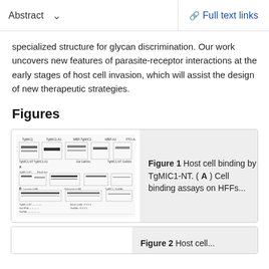Abstract   ∨    Full text links
specialized structure for glycan discrimination. Our work uncovers new features of parasite-receptor interactions at the early stages of host cell invasion, which will assist the design of new therapeutic strategies.
Figures
[Figure (photo): Western blot / binding assay gel image showing multiple lanes with protein bands, labeled TgMIC1, with additional panels below.]
Figure 1 Host cell binding by TgMIC1-NT. ( A ) Cell binding assays on HFFs...
Figure 2 Host cell...